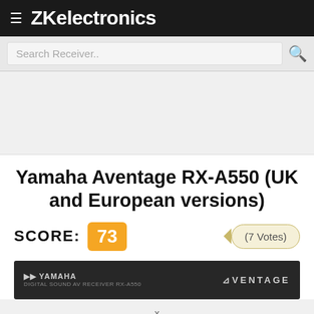ZKelectronics
Search Receiver..
Yamaha Aventage RX-A550 (UK and European versions)
SCORE: 73
(7 Votes)
[Figure (photo): Yamaha Aventage RX-A550 AV receiver product image showing a dark-colored front panel with YAMAHA logo on the left and AVENTAGE branding on the right]